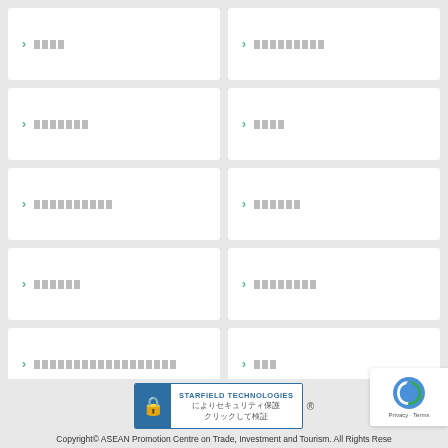████
█████████
███████
████
██████████
██████
██████
████████
██████████████████
███
[Figure (logo): Starfield Technologies security badge with Japanese text によりセキュリティ保護 クリックして検証]
Copyright© ASEAN Promotion Centre on Trade, Investment and Tourism. All Rights Reserved.